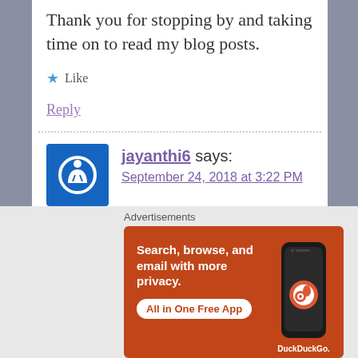Thank you for stopping by and taking time on to read my blog posts.
★ Like
Reply
jayanthi6 says:
September 24, 2018 at 3:22 PM
Luckily, my hubby helps in homely chores and
[Figure (screenshot): DuckDuckGo advertisement banner: orange background with phone image, text 'Search, browse, and email with more privacy. All in One Free App' and DuckDuckGo logo]
Advertisements